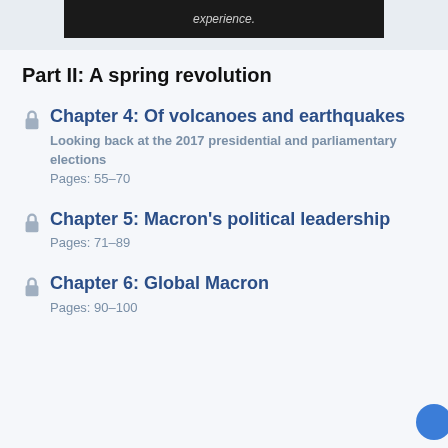[Figure (screenshot): Top dark banner with partial italic text 'experience.']
Part II: A spring revolution
Chapter 4: Of volcanoes and earthquakes
Looking back at the 2017 presidential and parliamentary elections
Pages: 55–70
Chapter 5: Macron's political leadership
Pages: 71–89
Chapter 6: Global Macron
Pages: 90–100